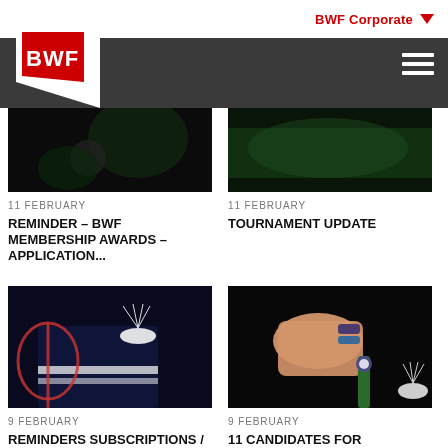BWF Corporate
[Figure (photo): Badminton player dark background, top left card image]
[Figure (photo): Badminton player green background, top right card image]
11 FEBRUARY
REMINDER – BWF MEMBERSHIP AWARDS – APPLICATION...
11 FEBRUARY
TOURNAMENT UPDATE
[Figure (photo): Shuttlecock and racket close-up, bottom left card image]
[Figure (photo): Hand holding badminton racket with bracelets, bottom right card image]
9 FEBRUARY
REMINDERS SUBSCRIPTIONS /
9 FEBRUARY
11 CANDIDATES FOR ELECTIONS | PARA